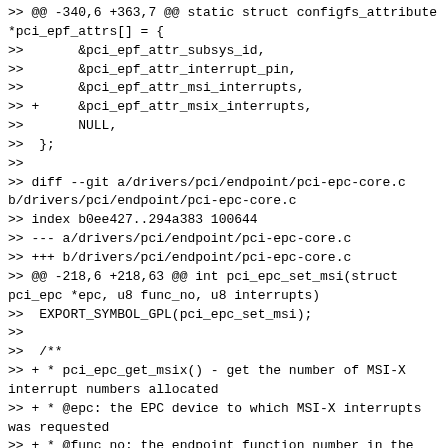>> @@ -340,6 +363,7 @@ static struct configfs_attribute *pci_epf_attrs[] = {
>>       &pci_epf_attr_subsys_id,
>>       &pci_epf_attr_interrupt_pin,
>>       &pci_epf_attr_msi_interrupts,
>> +     &pci_epf_attr_msix_interrupts,
>>       NULL,
>>  };
>>
>> diff --git a/drivers/pci/endpoint/pci-epc-core.c b/drivers/pci/endpoint/pci-epc-core.c
>> index b0ee427..294a383 100644
>> --- a/drivers/pci/endpoint/pci-epc-core.c
>> +++ b/drivers/pci/endpoint/pci-epc-core.c
>> @@ -218,6 +218,63 @@ int pci_epc_set_msi(struct pci_epc *epc, u8 func_no, u8 interrupts)
>>  EXPORT_SYMBOL_GPL(pci_epc_set_msi);
>>
>>  /**
>> + * pci_epc_get_msix() - get the number of MSI-X interrupt numbers allocated
>> + * @epc: the EPC device to which MSI-X interrupts was requested
>> + * @func_no: the endpoint function number in the EPC device
>> + * *
>> + * Invoke to get the number of MSI-X interrupts allocated by the RC
>> + * /
>> +int pci_epc_get_msix(struct pci_epc *epc, u8